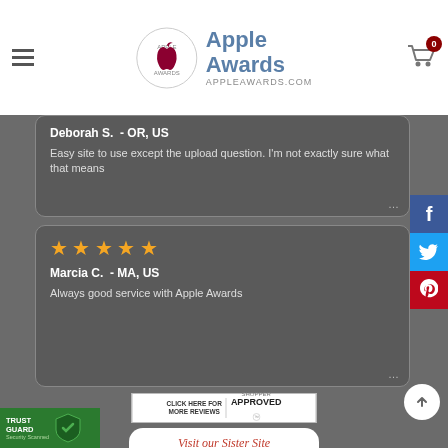Apple Awards - APPLEAWARDS.COM
Deborah S.  - OR, US
Easy site to use except the upload question. I'm not exactly sure what that means
[Figure (illustration): Five orange star rating icons]
Marcia C.   - MA, US
Always good service with Apple Awards
[Figure (screenshot): Shopper Approved - Click here for more reviews badge]
[Figure (logo): Visit our Sister Site - SPORTPLAQUES.COM - For Any of Your...]
[Figure (logo): Trust Guard Security Scanned badge]